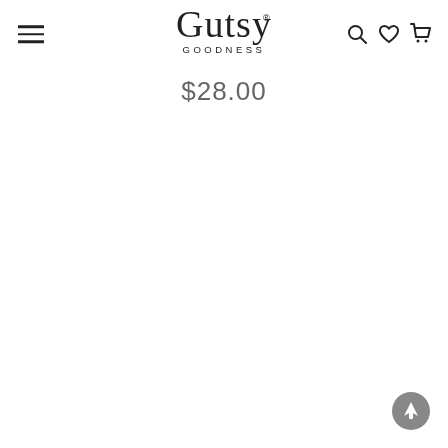Gutsy Goodness
$28.00
[Figure (logo): Gutsy Goodness script logo with GOODNESS in small caps beneath]
[Figure (other): Back to top arrow button (circle with upward arrow)]